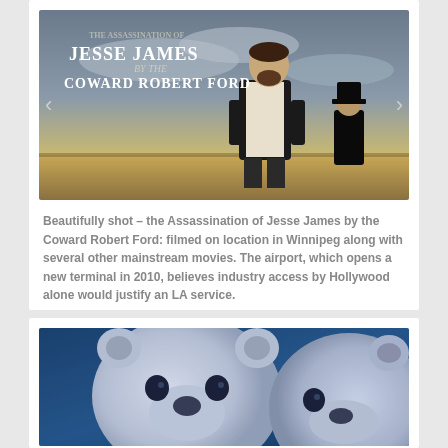[Figure (photo): Movie poster/still from 'The Assassination of Jesse James by the Coward Robert Ford' showing two men in period western clothing against a prairie sky. Title text visible at top.]
Beautifully shot – the Assassination of Jesse James by the Coward Robert Ford: filmed on location in Winnipeg along with several other mainstream movies. The airport, which opens a new terminal in 2010, believes industry access by Hollywood alone would justify an LA service.
[Figure (photo): Close-up photo of two polar bear cubs with blue-tinted lighting, their faces filling the frame.]